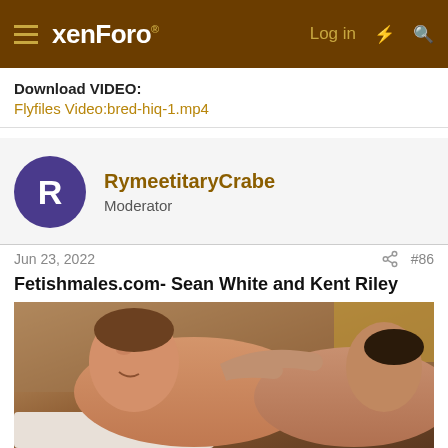xenForo | Log in | #86
Download VIDEO:
Flyfiles Video:bred-hiq-1.mp4
RymeetitaryCrabe
Moderator
Jun 23, 2022  #86
Fetishmales.com- Sean White and Kent Riley
[Figure (photo): Photo of two men lying on a bed, indoor setting with warm lighting]